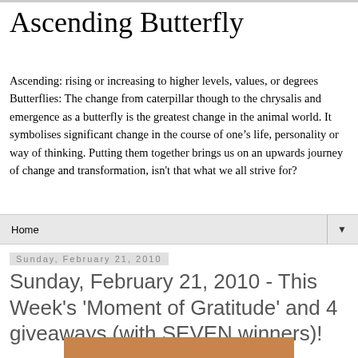Ascending Butterfly
Ascending: rising or increasing to higher levels, values, or degrees Butterflies: The change from caterpillar though to the chrysalis and emergence as a butterfly is the greatest change in the animal world. It symbolises significant change in the course of one’s life, personality or way of thinking. Putting them together brings us on an upwards journey of change and transformation, isn't that what we all strive for?
Home
Sunday, February 21, 2010
Sunday, February 21, 2010 - This Week's 'Moment of Gratitude' and 4 giveaways (with SEVEN winners)!
[Figure (photo): Partial image visible at bottom of page, appears to be a warm-toned photograph]